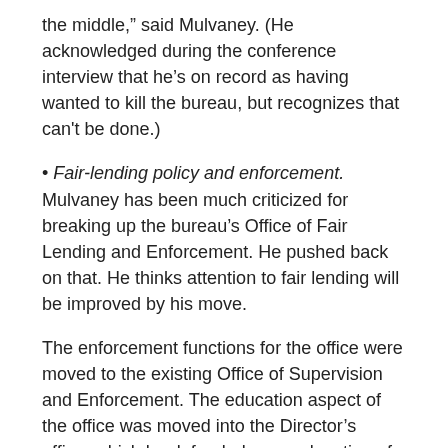the middle," said Mulvaney. (He acknowledged during the conference interview that he's on record as having wanted to kill the bureau, but recognizes that can't be done.)
Fair-lending policy and enforcement. Mulvaney has been much criticized for breaking up the bureau's Office of Fair Lending and Enforcement. He pushed back on that. He thinks attention to fair lending will be improved by his move.
The enforcement functions for the office were moved to the existing Office of Supervision and Enforcement. The education aspect of the office was moved into the Director's office, which he defended as an elevation of the issue from its earlier status.
Future of mortgage regulation. Among the many mortgage-related rules that the bureau put in place under the Dodd-Frank Act were the ability to repay (ATR) and